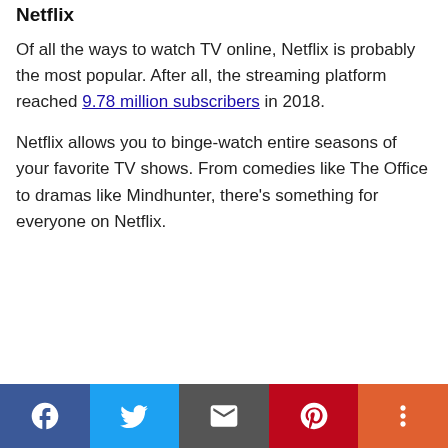Netflix
Of all the ways to watch TV online, Netflix is probably the most popular. After all, the streaming platform reached 9.78 million subscribers in 2018.
Netflix allows you to binge-watch entire seasons of your favorite TV shows. From comedies like The Office to dramas like Mindhunter, there's something for everyone on Netflix.
[Figure (infographic): Social sharing bar at bottom with Facebook (blue), Twitter (light blue), Email (gray), Pinterest (red), and More (orange-red) buttons]